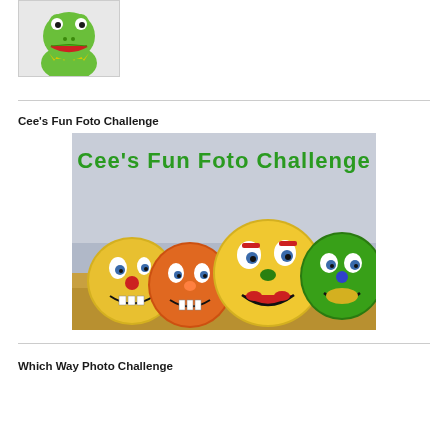[Figure (photo): Kermit the Frog puppet photo in a bordered box]
Cee's Fun Foto Challenge
[Figure (photo): Cee's Fun Foto Challenge banner image with colorful cartoon faces painted on hay bales]
Which Way Photo Challenge